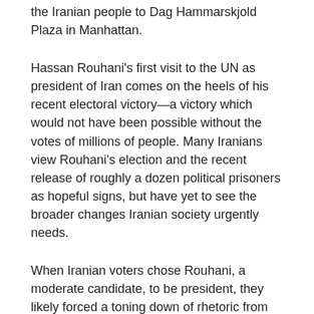the Iranian people to Dag Hammarskjold Plaza in Manhattan.
Hassan Rouhani's first visit to the UN as president of Iran comes on the heels of his recent electoral victory—a victory which would not have been possible without the votes of millions of people. Many Iranians view Rouhani's election and the recent release of roughly a dozen political prisoners as hopeful signs, but have yet to see the broader changes Iranian society urgently needs.
When Iranian voters chose Rouhani, a moderate candidate, to be president, they likely forced a toning down of rhetoric from the Obama administration. While that is encouraging, military action against Iran is still “on the table,” and the devastating US-led sanctions against Iranians—which are really a form of war—unfortunately continue.
Havaar said, “We stand here today to demand an end to the cruel and unjust sanctions regime imposed on the